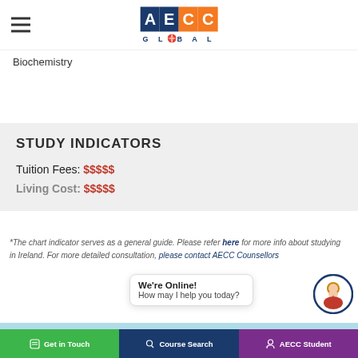AECC GLOBAL — Biochemistry
Biochemistry
STUDY INDICATORS
Tuition Fees: $$$$$
Living Cost: $$$$$
*The chart indicator serves as a general guide. Please refer here for more info about studying in Ireland. For more detailed consultation, please contact AECC Counsellors
[Figure (screenshot): Chat widget showing 'We're Online! How may I help you today?' with avatar]
Get in Touch
Get in Touch | Course Search | AECC Student